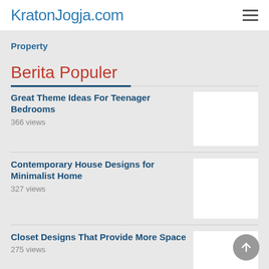KratonJogja.com
Property
Berita Populer
Great Theme Ideas For Teenager Bedrooms
366 views
Contemporary House Designs for Minimalist Home
327 views
Closet Designs That Provide More Space
275 views